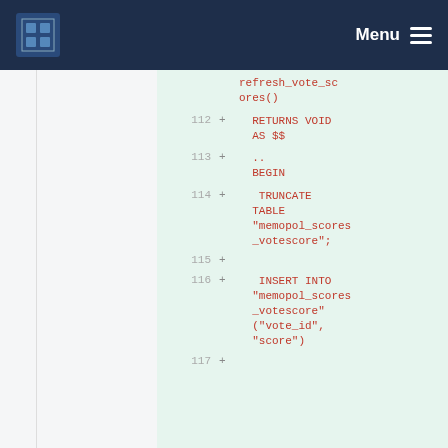Menu
[Figure (screenshot): Code diff viewer showing SQL stored procedure lines 112-117 with additions marked by + signs on a green background. Code includes RETURNS VOID AS $$, BEGIN, TRUNCATE TABLE "memopol_scores_votescore";, INSERT INTO "memopol_scores_votescore" ("vote_id", "score")]
refresh_vote_scores()
  RETURNS VOID
  AS $$
  ...
  BEGIN
   TRUNCATE TABLE "memopol_scores_votescore";

   INSERT INTO "memopol_scores_votescore"
   ("vote_id", "score")